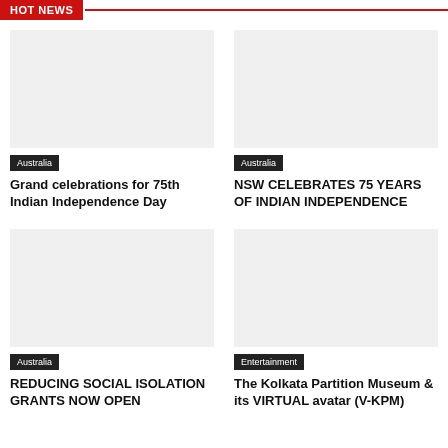HOT NEWS
[Figure (photo): Image placeholder for Grand celebrations for 75th Indian Independence Day article]
Australia
Grand celebrations for 75th Indian Independence Day
[Figure (photo): Image placeholder for NSW CELEBRATES 75 YEARS OF INDIAN INDEPENDENCE article]
Australia
NSW CELEBRATES 75 YEARS OF INDIAN INDEPENDENCE
[Figure (photo): Image placeholder for REDUCING SOCIAL ISOLATION GRANTS NOW OPEN article]
Australia
REDUCING SOCIAL ISOLATION GRANTS NOW OPEN
[Figure (photo): Image placeholder for The Kolkata Partition Museum & its VIRTUAL avatar (V-KPM) article]
Entertainment
The Kolkata Partition Museum & its VIRTUAL avatar (V-KPM)